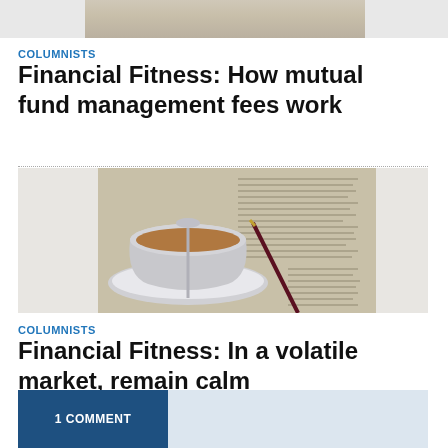[Figure (photo): Partial view of a hand or document at the top of the page, cropped strip]
COLUMNISTS
Financial Fitness: How mutual fund management fees work
[Figure (photo): Coffee cup with spoon on saucer placed on top of financial newspaper pages with a pen resting on the paper]
COLUMNISTS
Financial Fitness: In a volatile market, remain calm
1 COMMENT